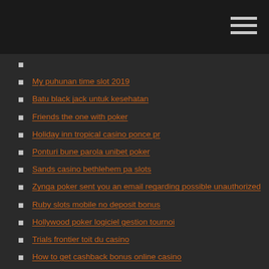My puhunan time slot 2019
Batu black jack untuk kesehatan
Friends the one with poker
Holiday inn tropical casino ponce pr
Ponturi bune parola unibet poker
Sands casino bethlehem pa slots
Zynga poker sent you an email regarding possible unauthorized
Ruby slots mobile no deposit bonus
Hollywood poker logiciel gestion tournoi
Trials frontier toit du casino
How to get cashback bonus online casino
Online casino deutschland gmbh (bautzen)